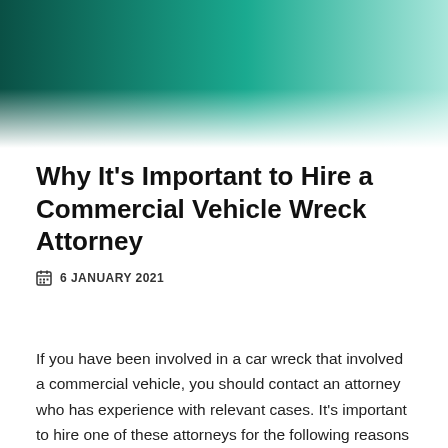[Figure (illustration): Decorative header banner with a gradient from dark teal/green on the left to light teal/mint on the right, fading to white at the bottom.]
Why It's Important to Hire a Commercial Vehicle Wreck Attorney
6 JANUARY 2021
If you have been involved in a car wreck that involved a commercial vehicle, you should contact an attorney who has experience with relevant cases. It's important to hire one of these attorneys for the following reasons and more.